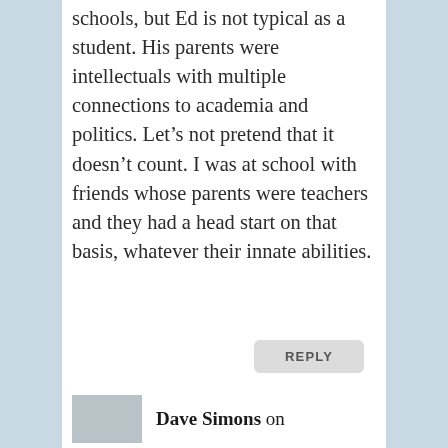schools, but Ed is not typical as a student. His parents were intellectuals with multiple connections to academia and politics. Let’s not pretend that it doesn’t count. I was at school with friends whose parents were teachers and they had a head start on that basis, whatever their innate abilities.
REPLY
Dave Simons on